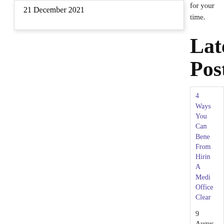21 December 2021
for your time.
Latest Posts
4 Ways You Can Benefit From Hiring A Medical Office Cleaner
9 August